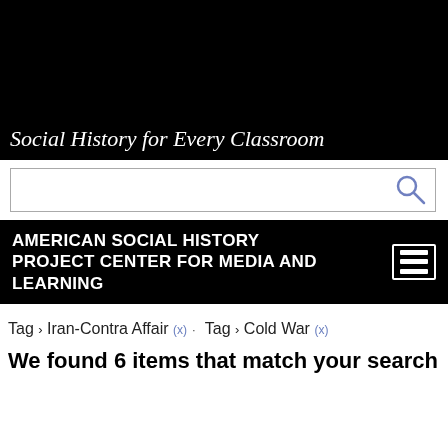[Figure (logo): Social History for Every Classroom logo with black silhouettes of people and text]
[Figure (screenshot): Search bar with magnifying glass icon]
AMERICAN SOCIAL HISTORY PROJECT CENTER FOR MEDIA AND LEARNING
Tag > Iran-Contra Affair (x) · Tag > Cold War (x)
We found 6 items that match your search